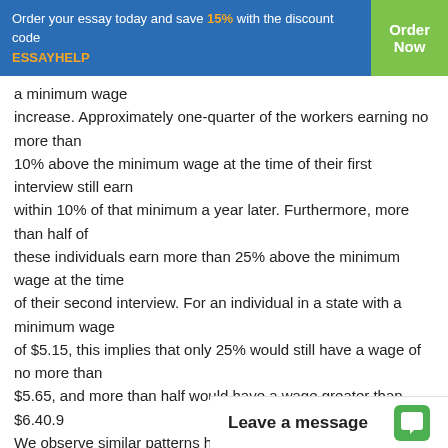Order your essay today and save 15% with the discount code ESSAYHELP | Order Now
a minimum wage increase. Approximately one-quarter of the workers earning no more than 10% above the minimum wage at the time of their first interview still earn within 10% of that minimum a year later. Furthermore, more than half of these individuals earn more than 25% above the minimum wage at the time of their second interview. For an individual in a state with a minimum wage of $5.15, this implies that only 25% would still have a wage of no more than $5.65, and more than half would have a wage greater than $6.40.9 We observe similar patterns higher in the wage distribution. Of those individuals earning betwe